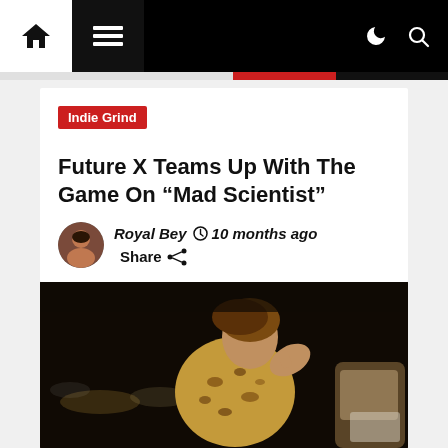Navigation bar with home icon, menu icon, moon icon, search icon
Indie Grind
Future X Teams Up With The Game On “Mad Scientist”
Royal Bey  10 months ago  Share
[Figure (photo): Nighttime photo of a person in leopard print clothing, leaning or reaching near a car, city lights visible in background]